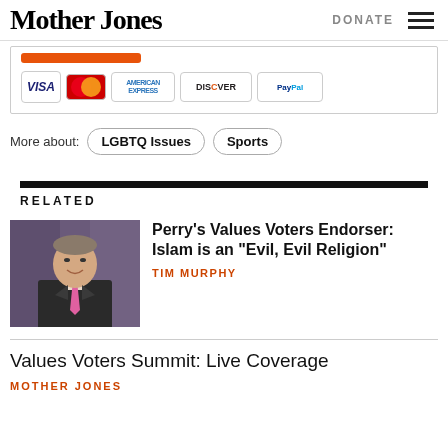Mother Jones | DONATE
[Figure (screenshot): Payment options section showing an orange button partially visible and payment method logos: VISA, MasterCard, American Express, Discover, PayPal]
More about: LGBTQ Issues  Sports
RELATED
[Figure (photo): Photo of a man in a dark suit with a pink tie, smiling, seated]
Perry’s Values Voters Endorser: Islam is an “Evil, Evil Religion”
TIM MURPHY
Values Voters Summit: Live Coverage
MOTHER JONES